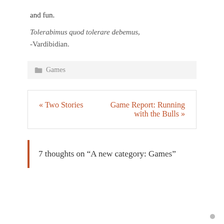and fun.
Tolerabimus quod tolerare debemus,
-Vardibidian.
📁 Games
« Two Stories    Game Report: Running with the Bulls »
7 thoughts on “A new category: Games”